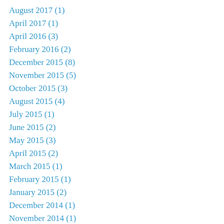August 2017 (1)
April 2017 (1)
April 2016 (3)
February 2016 (2)
December 2015 (8)
November 2015 (5)
October 2015 (3)
August 2015 (4)
July 2015 (1)
June 2015 (2)
May 2015 (3)
April 2015 (2)
March 2015 (1)
February 2015 (1)
January 2015 (2)
December 2014 (1)
November 2014 (1)
October 2014 (2)
September 2014 (1)
August 2014 (4)